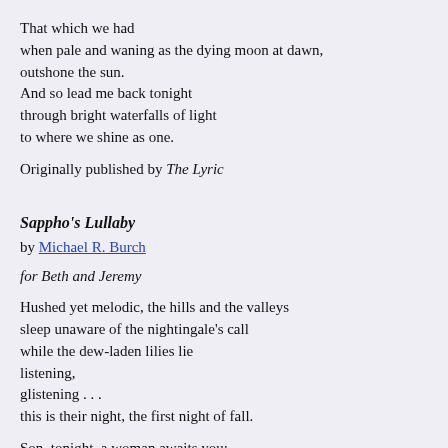That which we had
when pale and waning as the dying moon at dawn,
outshone the sun.
And so lead me back tonight
through bright waterfalls of light
to where we shine as one.
Originally published by The Lyric
Sappho's Lullaby
by Michael R. Burch
for Beth and Jeremy
Hushed yet melodic, the hills and the valleys
sleep unaware of the nightingale's call
while the dew-laden lilies lie
listening,
glistening . . .
this is their night, the first night of fall.
Son, tonight, a woman awaits you;